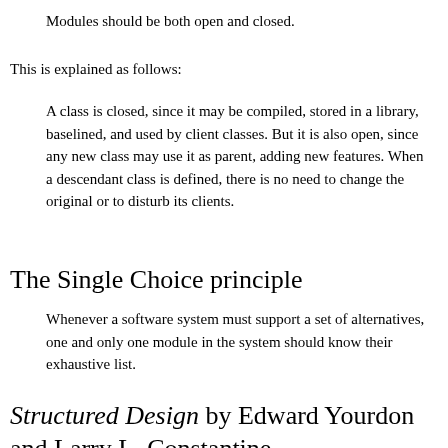Modules should be both open and closed.
This is explained as follows:
A class is closed, since it may be compiled, stored in a library, baselined, and used by client classes. But it is also open, since any new class may use it as parent, adding new features. When a descendant class is defined, there is no need to change the original or to disturb its clients.
The Single Choice principle
Whenever a software system must support a set of alternatives, one and only one module in the system should know their exhaustive list.
Structured Design by Edward Yourdon and Larry L. Constantine